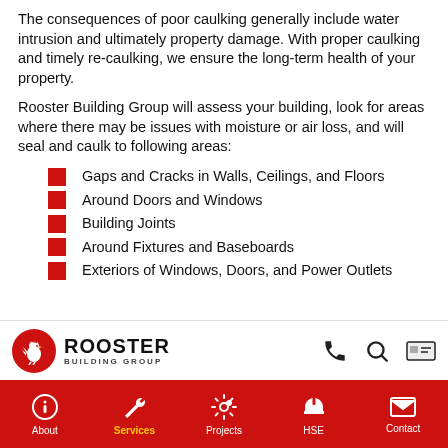The consequences of poor caulking generally include water intrusion and ultimately property damage. With proper caulking and timely re-caulking, we ensure the long-term health of your property.
Rooster Building Group will assess your building, look for areas where there may be issues with moisture or air loss, and will seal and caulk to following areas:
Gaps and Cracks in Walls, Ceilings, and Floors
Around Doors and Windows
Building Joints
Around Fixtures and Baseboards
Exteriors of Windows, Doors, and Power Outlets
ROOSTER BUILDING GROUP — About | Services | Projects | HSE | Contact